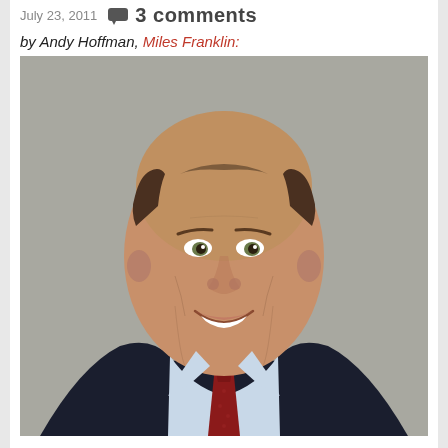July 23, 2011  3 comments
by Andy Hoffman, Miles Franklin:
[Figure (photo): Professional headshot of Andy Hoffman, a bald smiling man in a dark suit, light blue dress shirt, and dark red tie, photographed against a grey background.]